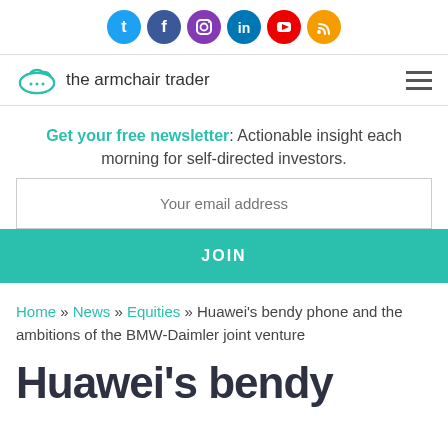[Figure (other): Social media icon row: Twitter, Facebook, Instagram, LinkedIn, YouTube, RSS]
the armchair trader
Get your free newsletter: Actionable insight each morning for self-directed investors.
Your email address
JOIN
Home » News » Equities » Huawei's bendy phone and the ambitions of the BMW-Daimler joint venture
Huawei's bendy